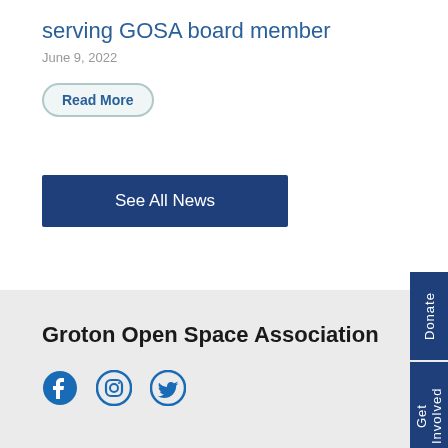serving GOSA board member
June 9, 2022
Read More
See All News
Donate
Get Involved
Groton Open Space Association